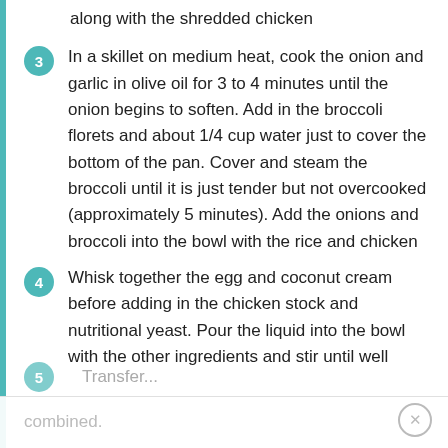along with the shredded chicken
3. In a skillet on medium heat, cook the onion and garlic in olive oil for 3 to 4 minutes until the onion begins to soften. Add in the broccoli florets and about 1/4 cup water just to cover the bottom of the pan. Cover and steam the broccoli until it is just tender but not overcooked (approximately 5 minutes). Add the onions and broccoli into the bowl with the rice and chicken
4. Whisk together the egg and coconut cream before adding in the chicken stock and nutritional yeast. Pour the liquid into the bowl with the other ingredients and stir until well combined.
5. Transfer...